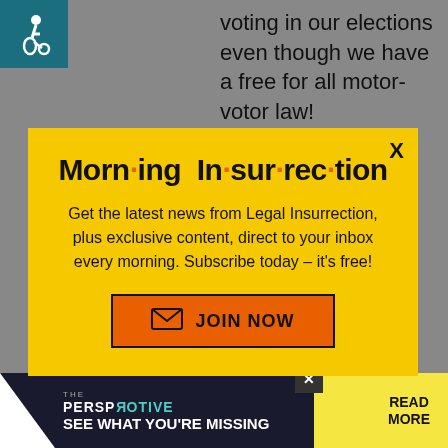[Figure (screenshot): Background webpage with teal disability icon, partial article text about voting and motor-voter law]
[Figure (infographic): Morning Insurrection email newsletter modal popup with yellow background, orange dots in title, subscribe text, and orange JOIN NOW button]
[Figure (screenshot): Bottom advertisement bar for 'The Perspective' with dark background, teal and yellow accents, READ MORE button]